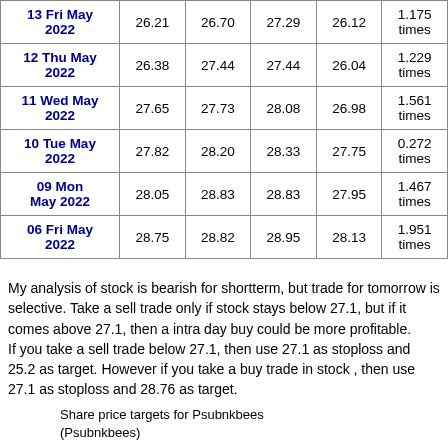| 13 Fri May 2022 | 26.21 | 26.70 | 27.29 | 26.12 | 1.175 times |
| 12 Thu May 2022 | 26.38 | 27.44 | 27.44 | 26.04 | 1.229 times |
| 11 Wed May 2022 | 27.65 | 27.73 | 28.08 | 26.98 | 1.561 times |
| 10 Tue May 2022 | 27.82 | 28.20 | 28.33 | 27.75 | 0.272 times |
| 09 Mon May 2022 | 28.05 | 28.83 | 28.83 | 27.95 | 1.467 times |
| 06 Fri May 2022 | 28.75 | 28.82 | 28.95 | 28.13 | 1.951 times |
My analysis of stock is bearish for shortterm, but trade for tomorrow is selective. Take a sell trade only if stock stays below 27.1, but if it comes above 27.1, then a intra day buy could be more profitable.
If you take a sell trade below 27.1, then use 27.1 as stoploss and 25.2 as target. However if you take a buy trade in stock , then use 27.1 as stoploss and 28.76 as target.
Share price targets for Psubnkbees (Psubnkbees)